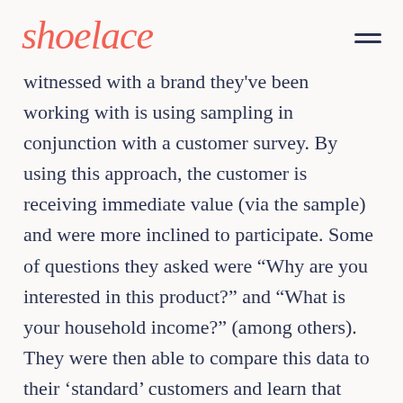shoelace
witnessed with a brand they've been working with is using sampling in conjunction with a customer survey. By using this approach, the customer is receiving immediate value (via the sample) and were more inclined to participate. Some of questions they asked were “Why are you interested in this product?” and “What is your household income?” (among others). They were then able to compare this data to their ‘standard’ customers and learn that ~10-15% of the the group redeeming samples were a good fit to be a long-term customer. This meant they were able to